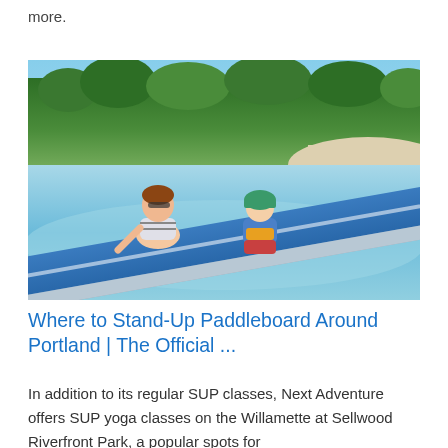more.
[Figure (photo): A woman and a child sitting on a large blue inflatable paddleboard floating in clear shallow water near a tropical beach with palm trees and white sand in the background.]
Where to Stand-Up Paddleboard Around Portland | The Official ...
In addition to its regular SUP classes, Next Adventure offers SUP yoga classes on the Willamette at Sellwood Riverfront Park, a popular spots for